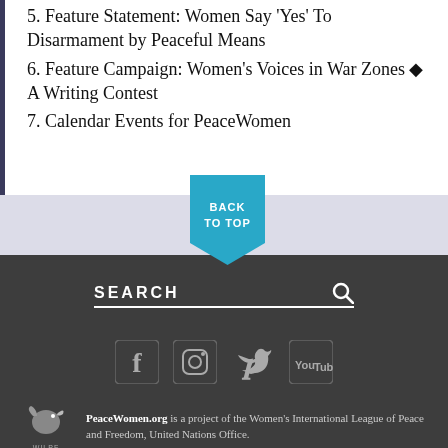5. Feature Statement: Women Say 'Yes' To Disarmament by Peaceful Means
6. Feature Campaign: Women's Voices in War Zones ◆ A Writing Contest
7. Calendar Events for PeaceWomen
[Figure (other): Back to Top button — cyan pentagon/bookmark shape with text BACK TO TOP]
[Figure (other): Search bar with magnifying glass icon on dark background]
[Figure (other): Social media icons: Facebook, Instagram, Twitter, YouTube on dark background]
PeaceWomen.org is a project of the Women's International League of Peace and Freedom, United Nations Office.